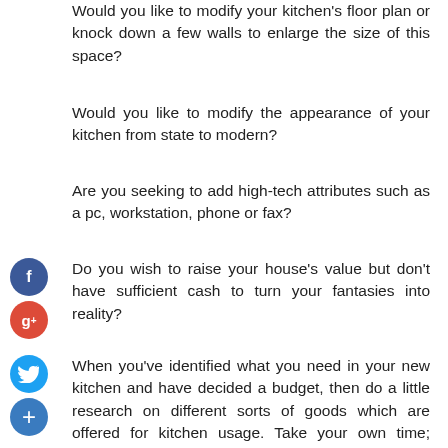Would you like to modify your kitchen's floor plan or knock down a few walls to enlarge the size of this space?
Would you like to modify the appearance of your kitchen from state to modern?
Are you seeking to add high-tech attributes such as a pc, workstation, phone or fax?
Do you wish to raise your house's value but don't have sufficient cash to turn your fantasies into reality?
When you've identified what you need in your new kitchen and have decided a budget, then do a little research on different sorts of goods which are offered for kitchen usage. Take your own time; reverse through magazine pages and create a